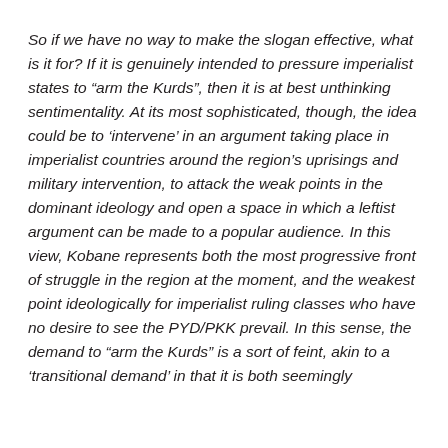So if we have no way to make the slogan effective, what is it for?  If it is genuinely intended to pressure imperialist states to “arm the Kurds”, then it is at best unthinking sentimentality.  At its most sophisticated, though, the idea could be to ‘intervene’ in an argument taking place in imperialist countries around the region’s uprisings and military intervention, to attack the weak points in the dominant ideology and open a space in which a leftist argument can be made to a popular audience.  In this view, Kobane represents both the most progressive front of struggle in the region at the moment, and the weakest point ideologically for imperialist ruling classes who have no desire to see the PYD/PKK prevail.  In this sense, the demand to “arm the Kurds” is a sort of feint, akin to a ‘transitional demand’ in that it is both seemingly